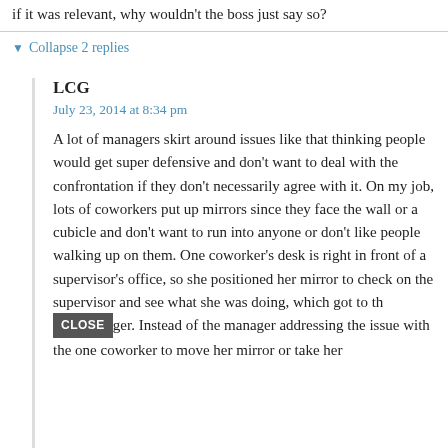if it was relevant, why wouldn't the boss just say so?
▼ Collapse 2 replies
LCG
July 23, 2014 at 8:34 pm
A lot of managers skirt around issues like that thinking people would get super defensive and don't want to deal with the confrontation if they don't necessarily agree with it. On my job, lots of coworkers put up mirrors since they face the wall or a cubicle and don't want to run into anyone or don't like people walking up on them. One coworker's desk is right in front of a supervisor's office, so she positioned her mirror to check on the supervisor and see what she was doing, which got to the manager. Instead of the manager addressing the issue with the one coworker to move her mirror or take her